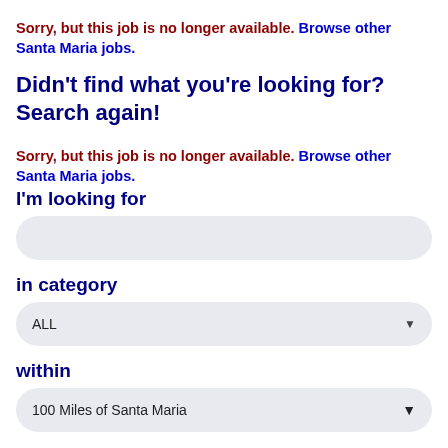Sorry, but this job is no longer available. Browse other Santa Maria jobs.
Didn't find what you're looking for? Search again!
Sorry, but this job is no longer available. Browse other Santa Maria jobs.
I'm looking for
in category
ALL
within
100 Miles of Santa Maria